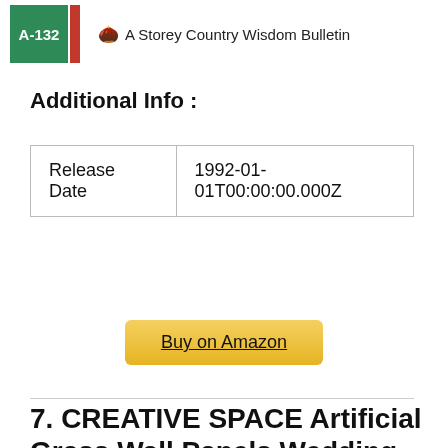[Figure (logo): Green book cover logo with 'A-132' text in white on green background with red strip, followed by acorn icon and 'A Storey Country Wisdom Bulletin' text]
Additional Info :
| Release Date | 1992-01-01T00:00:00.000Z |
Buy on Amazon
7. CREATIVE SPACE Artificial Grass Wall Panels Wedding Backdrop 12 PCS